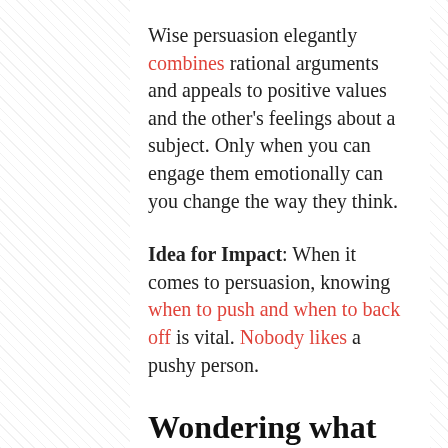Wise persuasion elegantly combines rational arguments and appeals to positive values and the other's feelings about a subject. Only when you can engage them emotionally can you change the way they think.
Idea for Impact: When it comes to persuasion, knowing when to push and when to back off is vital. Nobody likes a pushy person.
Wondering what to read next?
"But, Excuse Me, I'm Type A": The